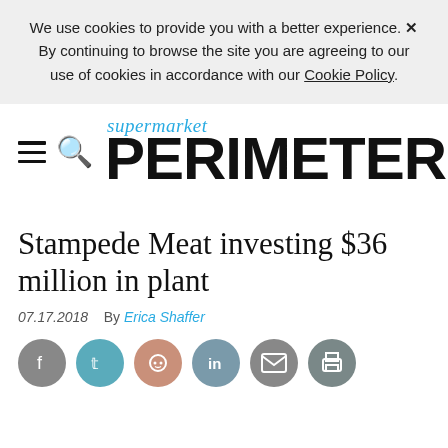We use cookies to provide you with a better experience. ✕ By continuing to browse the site you are agreeing to our use of cookies in accordance with our Cookie Policy.
[Figure (logo): Supermarket Perimeter logo with hamburger menu and search icons]
Stampede Meat investing $36 million in plant
07.17.2018   By Erica Shaffer
[Figure (infographic): Social share icons: Facebook, Twitter, Reddit, LinkedIn, Email, Print]